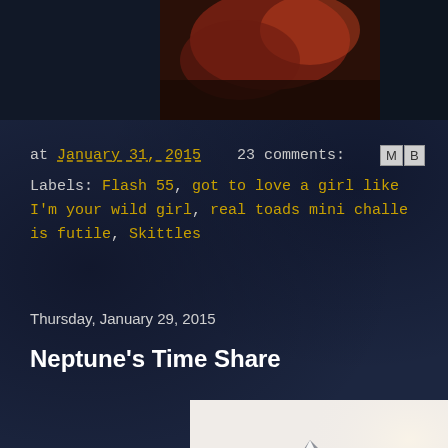[Figure (photo): Dark background with partial image at top showing reddish/warm toned photo on dark navy background]
at January 31, 2015   23 comments:   [MB]
Labels: Flash 55, got to love a girl like I'm your wild girl, real toads mini challe... is futile, Skittles
Thursday, January 29, 2015
Neptune's Time Share
[Figure (photo): Snow-covered mountain peaks with light sky background, black and white/desaturated photograph]